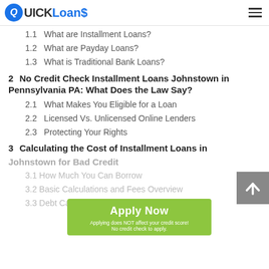QUICK Loans
1.1  What are Installment Loans?
1.2  What are Payday Loans?
1.3  What is Traditional Bank Loans?
2  No Credit Check Installment Loans Johnstown in Pennsylvania PA: What Does the Law Say?
2.1  What Makes You Eligible for a Loan
2.2  Licensed Vs. Unlicensed Online Lenders
2.3  Protecting Your Rights
3  Calculating the Cost of Installment Loans in Johnstown for Bad Credit
3.1  How Much You Can Borrow
3.2  Basic Calculations and Fees Overview
3.3  Debt Calculators
[Figure (other): Apply Now button overlay with text: Apply Now, Applying does NOT affect your credit score!, No credit check to apply.]
[Figure (other): Scroll-to-top button (grey square with upward arrow)]